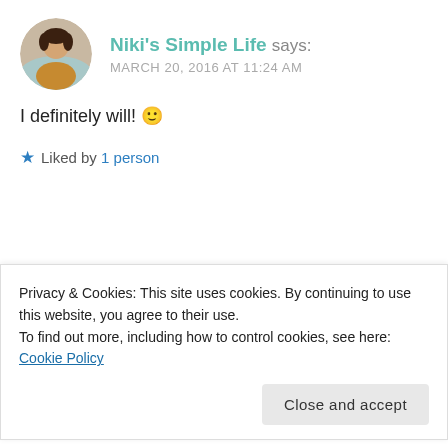[Figure (photo): Circular avatar photo of Niki, a woman in a brown/orange outfit]
Niki's Simple Life says:
MARCH 20, 2016 AT 11:24 AM
I definitely will! 🙂
★ Liked by 1 person
Privacy & Cookies: This site uses cookies. By continuing to use this website, you agree to their use.
To find out more, including how to control cookies, see here: Cookie Policy
Close and accept